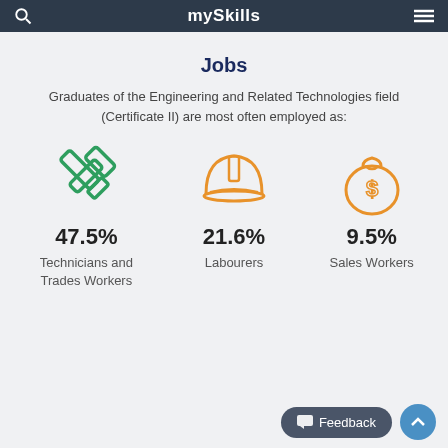mySkills
Jobs
Graduates of the Engineering and Related Technologies field (Certificate II) are most often employed as:
[Figure (infographic): Three icons with employment percentages: crossed hammer and chisel (green) for Technicians and Trades Workers 47.5%, construction helmet (orange) for Labourers 21.6%, money bag with dollar sign (orange) for Sales Workers 9.5%]
47.5%
Technicians and Trades Workers
21.6%
Labourers
9.5%
Sales Workers